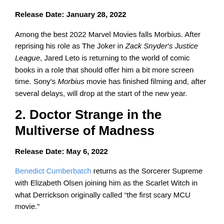Release Date: January 28, 2022
Among the best 2022 Marvel Movies falls Morbius. After reprising his role as The Joker in Zack Snyder's Justice League, Jared Leto is returning to the world of comic books in a role that should offer him a bit more screen time. Sony's Morbius movie has finished filming and, after several delays, will drop at the start of the new year.
2. Doctor Strange in the Multiverse of Madness
Release Date: May 6, 2022
Benedict Cumberbatch returns as the Sorcerer Supreme with Elizabeth Olsen joining him as the Scarlet Witch in what Derrickson originally called "the first scary MCU movie."